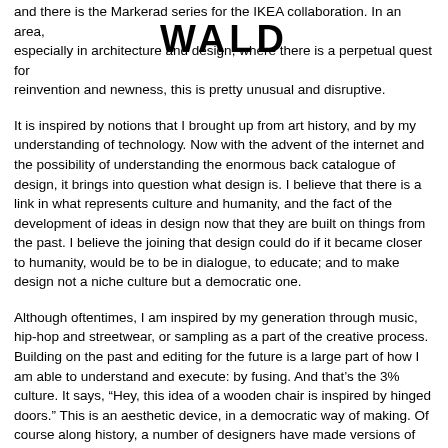[Figure (logo): WALD watermark/logo text overlaid on the page]
and there is the Markerad series for the IKEA collaboration. In an area, especially in architecture and design, where there is a perpetual quest for reinvention and newness, this is pretty unusual and disruptive.
It is inspired by notions that I brought up from art history, and by my understanding of technology. Now with the advent of the internet and the possibility of understanding the enormous back catalogue of design, it brings into question what design is. I believe that there is a link in what represents culture and humanity, and the fact of the development of ideas in design now that they are built on things from the past. I believe the joining that design could do if it became closer to humanity, would be to be in dialogue, to educate; and to make design not a niche culture but a democratic one.
Although oftentimes, I am inspired by my generation through music, hip-hop and streetwear, or sampling as a part of the creative process. Building on the past and editing for the future is a large part of how I am able to understand and execute: by fusing. And that's the 3% culture. It says, “Hey, this idea of a wooden chair is inspired by hinged doors.” This is an aesthetic device, in a democratic way of making. Of course along history, a number of designers have made versions of that stool, but for me I am interested in the mundane. When design becomes not even design, it becomes human expression. I’m building on that, adding a new layer, making it contemporary.